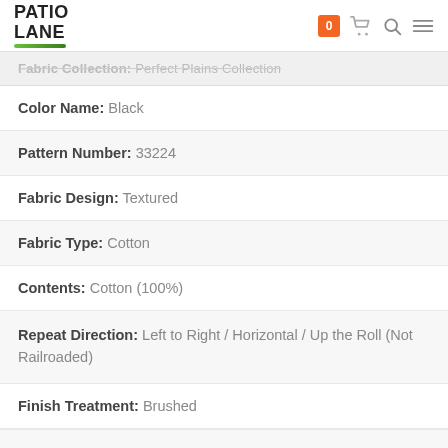PATIO LANE
Fabric Collection: Perfect Plains Collection
Color Name: Black
Pattern Number: 33224
Fabric Design: Textured
Fabric Type: Cotton
Contents: Cotton (100%)
Repeat Direction: Left to Right / Horizontal / Up the Roll (Not Railroaded)
Finish Treatment: Brushed